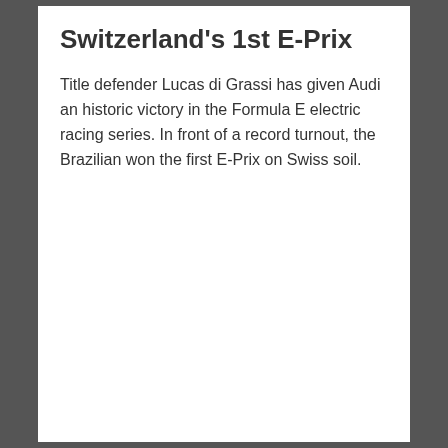Switzerland's 1st E-Prix
Title defender Lucas di Grassi has given Audi an historic victory in the Formula E electric racing series. In front of a record turnout, the Brazilian won the first E-Prix on Swiss soil.